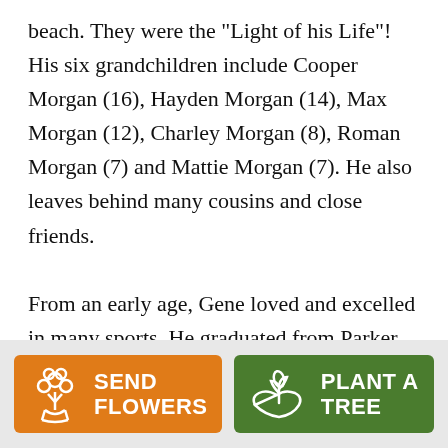beach. They were the "Light of his Life"! His six grandchildren include Cooper Morgan (16), Hayden Morgan (14), Max Morgan (12), Charley Morgan (8), Roman Morgan (7) and Mattie Morgan (7). He also leaves behind many cousins and close friends. From an early age, Gene loved and excelled in many sports. He graduated from Parker High School in 1968. There he competed as the varsity quarterback of the football team, second baseman on the baseball team, and on the basketball team. Later in life, his love of sports led him to become a
[Figure (infographic): Two buttons: orange 'SEND FLOWERS' button with flower bouquet icon, and green 'PLANT A TREE' button with plant/hand icon]